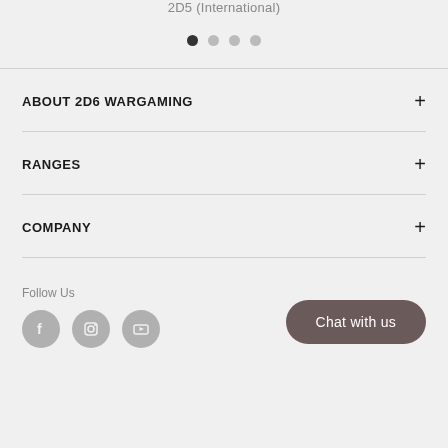2D5 (International)
[Figure (other): Carousel pagination dots – one filled dark dot and three lighter dots]
ABOUT 2D6 WARGAMING
RANGES
COMPANY
Follow Us
[Figure (other): Social media icons for Facebook, Instagram, and YouTube in grey circles]
Chat with us